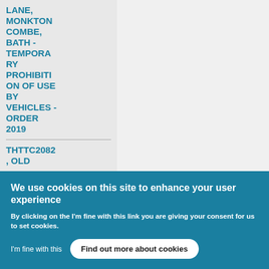LANE, MONKTON COMBE, BATH - TEMPORARY PROHIBITION OF USE BY VEHICLES - ORDER 2019
THTTC2082, OLD
We use cookies on this site to enhance your user experience
By clicking on the I'm fine with this link you are giving your consent for us to set cookies.
I'm fine with this
Find out more about cookies